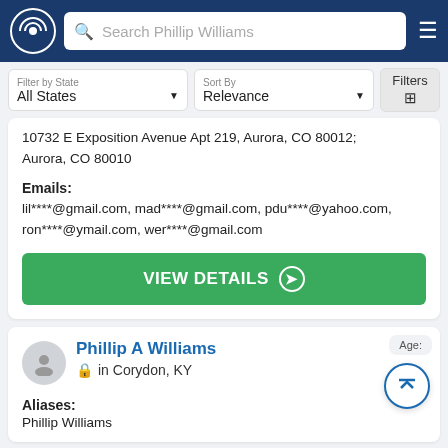Search Phillip Williams
Filter by State: All States | Sort By: Relevance | Filters
10732 E Exposition Avenue Apt 219, Aurora, CO 80012; Aurora, CO 80010
Emails: lil****@gmail.com, mad****@gmail.com, pdu****@yahoo.com, ron****@ymail.com, wer****@gmail.com
VIEW DETAILS
Phillip A Williams in Corydon, KY
Age:
Aliases: Phillip Williams